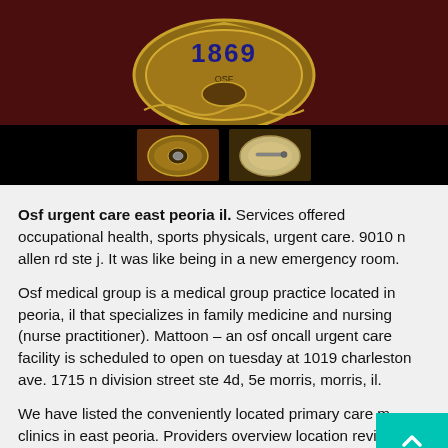[Figure (photo): Photograph of a gold police or official badge with '1869' inscribed, shown large at top, with two smaller views of the badge (front and back) shown below on a dark red fabric background.]
Osf urgent care east peoria il. Services offered occupational health, sports physicals, urgent care. 9010 n allen rd ste j. It was like being in a new emergency room.
Osf medical group is a medical group practice located in peoria, il that specializes in family medicine and nursing (nurse practitioner). Mattoon – an osf oncall urgent care facility is scheduled to open on tuesday at 1019 charleston ave. 1715 n division street ste 4d, 5e morris, morris, il.
We have listed the conveniently located primary care m clinics in east peoria. Providers overview location revie 1 year experience in an urgent care or related clinical service